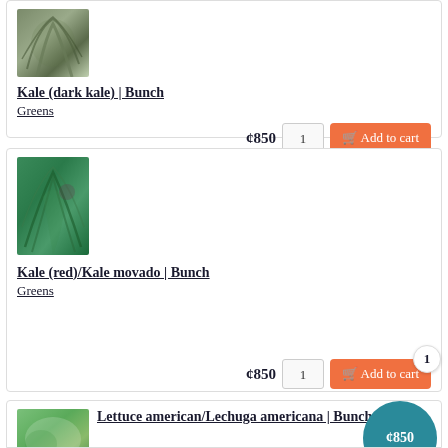[Figure (photo): Close-up photo of dark kale leaves]
Kale (dark kale) | Bunch
Greens
¢850
1
Add to cart
[Figure (photo): Close-up photo of red/green kale]
Kale (red)/Kale movado | Bunch
Greens
¢850
1
Add to cart
[Figure (photo): Close-up photo of lettuce]
Lettuce american/Lechuga americana | Bunch
¢850